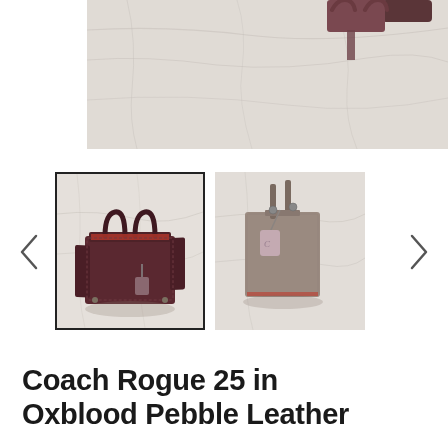[Figure (photo): Top portion of a Coach Rogue 25 bag in oxblood/dark red pebble leather being held over a white marble surface, showing the top handles and strap]
[Figure (photo): Thumbnail 1 (selected): Front view of Coach Rogue 25 mini bag in oxblood/dark burgundy pebble leather with two top handles and a charm tag, sitting on white marble]
[Figure (photo): Thumbnail 2: Side/detail view of a taupe/mauve Coach bag showing the Coach logo charm tag on the zipper, on white marble]
Coach Rogue 25 in Oxblood Pebble Leather